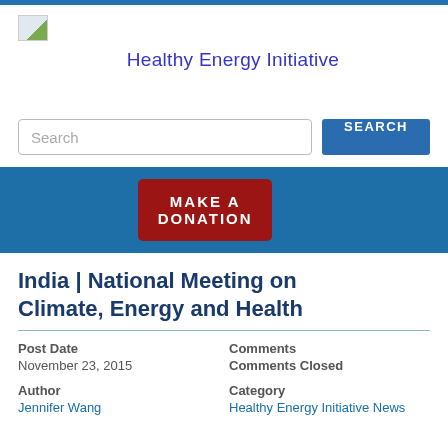[Figure (logo): Small broken/placeholder image icon in top-left of header]
Healthy Energy Initiative
[Figure (other): Search input field with placeholder text 'Search' and a blue SEARCH button]
MAKE A DONATION
India | National Meeting on Climate, Energy and Health
Post Date
November 23, 2015
Comments
Comments Closed
Author
Jennifer Wang
Category
Healthy Energy Initiative News